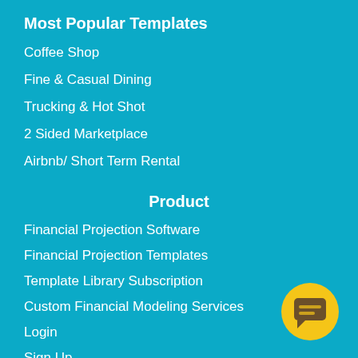Most Popular Templates
Coffee Shop
Fine & Casual Dining
Trucking & Hot Shot
2 Sided Marketplace
Airbnb/ Short Term Rental
Product
Financial Projection Software
Financial Projection Templates
Template Library Subscription
Custom Financial Modeling Services
Login
Sign Up
[Figure (illustration): Yellow circular chat button with a dark chat bubble icon in the bottom right corner]